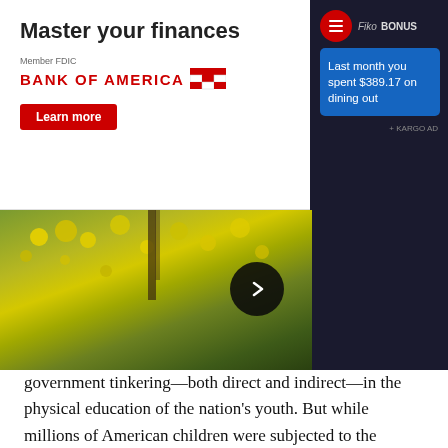[Figure (screenshot): Bank of America advertisement banner: 'Master your finances', Member FDIC, BANK OF AMERICA logo with flag icon, red 'Learn more' button]
[Figure (screenshot): Fiko/Kargo ad panel on dark background showing a blue notification box: 'Last month you spent $389.17 on dining out', with red circular icon and KARGO AD label]
[Figure (photo): Nature photo strip showing yellow wildflowers and green foliage with a dark right panel and a black circular arrow navigation button]
government tinkering—both direct and indirect—in the physical education of the nation's youth. But while millions of American children were subjected to the individual tests that collectively made up the test, with the top 15 percent (more or less) qualifying for a special award, it's unlikely that they understood that their results were part of a massive information-gathering effort by the feds.
What? The government was